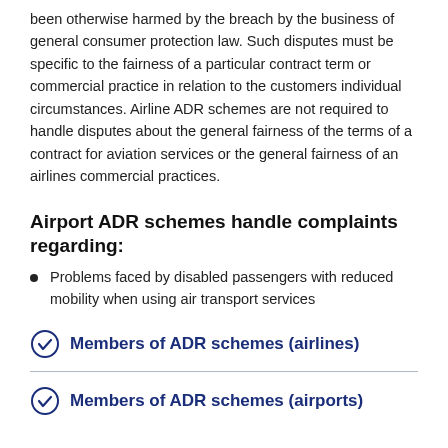been otherwise harmed by the breach by the business of general consumer protection law. Such disputes must be specific to the fairness of a particular contract term or commercial practice in relation to the customers individual circumstances. Airline ADR schemes are not required to handle disputes about the general fairness of the terms of a contract for aviation services or the general fairness of an airlines commercial practices.
Airport ADR schemes handle complaints regarding:
Problems faced by disabled passengers with reduced mobility when using air transport services
Members of ADR schemes (airlines)
Members of ADR schemes (airports)